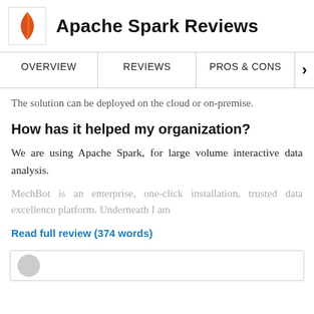Apache Spark Reviews
OVERVIEW | REVIEWS | PROS & CONS
The solution can be deployed on the cloud or on-premise.
How has it helped my organization?
We are using Apache Spark, for large volume interactive data analysis.
MechBot is an enterprise, one-click installation, trusted data excellence platform. Underneath I am
Read full review (374 words)